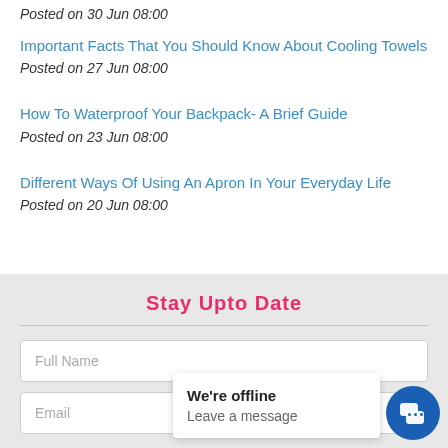Posted on 30 Jun 08:00
Important Facts That You Should Know About Cooling Towels
Posted on 27 Jun 08:00
How To Waterproof Your Backpack- A Brief Guide
Posted on 23 Jun 08:00
Different Ways Of Using An Apron In Your Everyday Life
Posted on 20 Jun 08:00
Stay Upto Date
Full Name
Email
We're offline
Leave a message